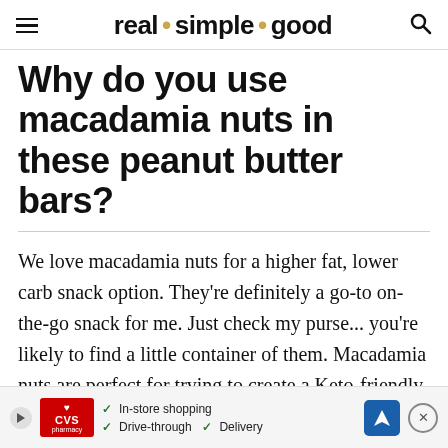real · simple · good
Why do you use macadamia nuts in these peanut butter bars?
We love macadamia nuts for a higher fat, lower carb snack option. They're definitely a go-to on-the-go snack for me. Just check my purse... you're likely to find a little container of them. Macadamia nuts are perfect for trying to create a Keto-friendly snack/treat option. If you're not worrie[d about carbs] er favori[te]
[Figure (screenshot): CVS Pharmacy advertisement banner at bottom of page showing in-store shopping, drive-through, and delivery options with navigation icon and close button]